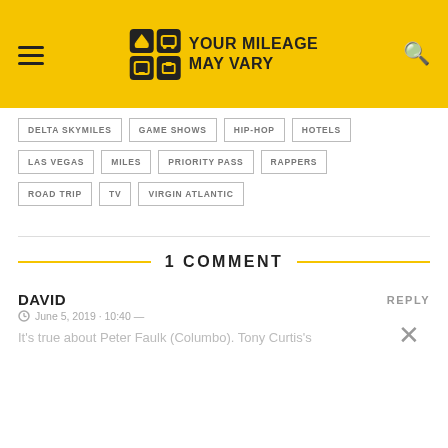YOUR MILEAGE MAY VARY
DELTA SKYMILES
GAME SHOWS
HIP-HOP
HOTELS
LAS VEGAS
MILES
PRIORITY PASS
RAPPERS
ROAD TRIP
TV
VIRGIN ATLANTIC
1 COMMENT
DAVID
June 5, 2019 · 10:40 —
It's true about Peter Faulk (Columbo). Tony Curtis's